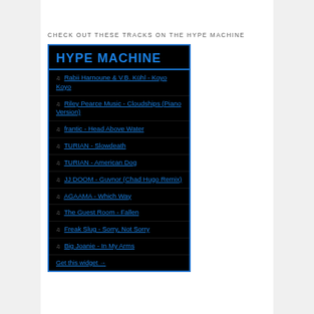CHECK OUT THESE TRACKS ON THE HYPE MACHINE
[Figure (screenshot): Hype Machine music widget showing a black background with blue text. Header reads 'HYPE MACHINE' in bold blue. Below are 10 track listings each preceded by a musical note symbol: Rabii Harnoune & V.B. Kühl - Koyo Koyo; Riley Pearce Music - Cloudships (Piano Version); frantic - Head Above Water; TURIAN - Slowdeath; TURIAN - American Dog; JJ DOOM - Guvnor (Chad Hugo Remix); AGAAMA - Which Way; The Guest Room - Fallen; Freak Slug - Sorry, Not Sorry; Big Joanie - In My Arms. At the bottom: Get this widget →]